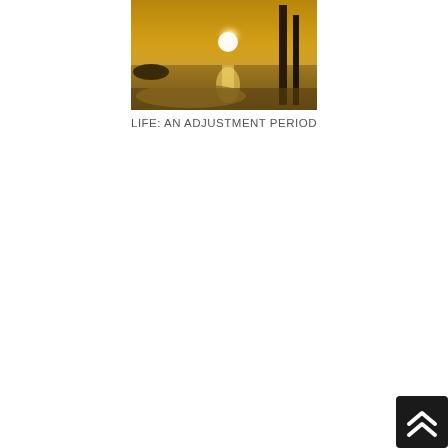[Figure (photo): A sunset or sunrise photograph over water/beach with silhouettes of trees or posts, golden warm tones with bright light reflection on the water.]
LIFE: AN ADJUSTMENT PERIOD
[Figure (logo): A black square icon with a white double upward chevron/arrow symbol, resembling a navigation or scroll-to-top button.]